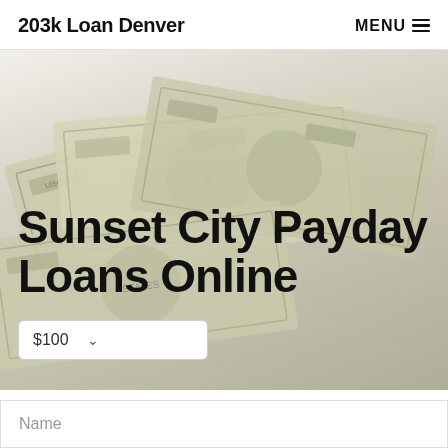203k Loan Denver  MENU
[Figure (photo): Background photo of US dollar bills fanned out, slightly desaturated/faded]
Sunset City Payday Loans Online
$100 (dropdown selector)
Name (form input placeholder)